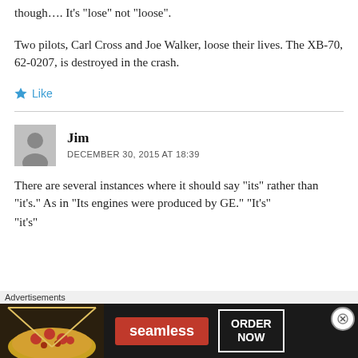though.... It’s “lose” not “loose”.
Two pilots, Carl Cross and Joe Walker, loose their lives. The XB-70, 62-0207, is destroyed in the crash.
Like
Jim
DECEMBER 30, 2015 AT 18:39
There are several instances where it should say “its” rather than “it’s.” As in “Its engines were produced by GE.” “It’s”
Advertisements